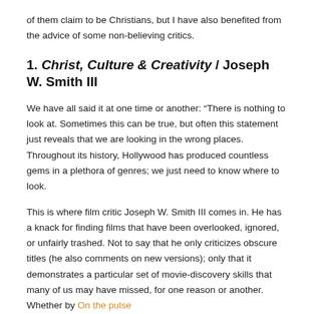of them claim to be Christians, but I have also benefited from the advice of some non-believing critics.
1. Christ, Culture & Creativity / Joseph W. Smith III
We have all said it at one time or another: “There is nothing to look at. Sometimes this can be true, but often this statement just reveals that we are looking in the wrong places. Throughout its history, Hollywood has produced countless gems in a plethora of genres; we just need to know where to look.
This is where film critic Joseph W. Smith III comes in. He has a knack for finding films that have been overlooked, ignored, or unfairly trashed. Not to say that he only criticizes obscure titles (he also comments on new versions); only that it demonstrates a particular set of movie-discovery skills that many of us may have missed, for one reason or another. Whether by On the pulse